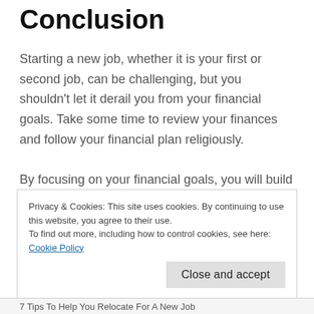Conclusion
Starting a new job, whether it is your first or second job, can be challenging, but you shouldn't let it derail you from your financial goals. Take some time to review your finances and follow your financial plan religiously.
By focusing on your financial goals, you will build a healthy mindset regarding your finances and prepare for the future.
Privacy & Cookies: This site uses cookies. By continuing to use this website, you agree to their use.
To find out more, including how to control cookies, see here: Cookie Policy
7 Tips To Help You Relocate For A New Job